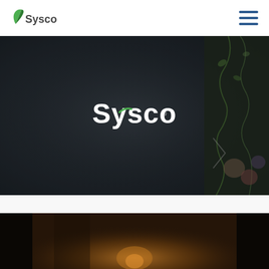Sysco website header with logo and navigation menu
[Figure (photo): Dark textured background with Sysco logo centered in white text, with food ingredients (vegetables, herbs) visible on the right side]
[Figure (photo): Bottom portion showing a dimly lit restaurant scene with a person and warm hanging light]